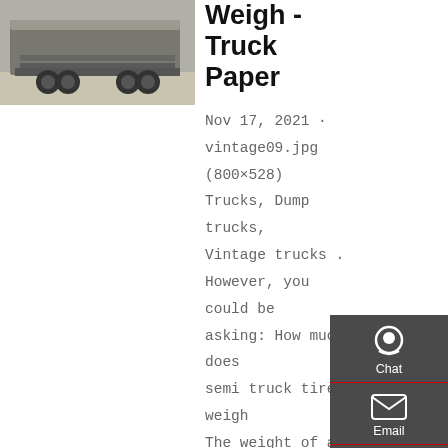[Figure (photo): Photo of a semi truck chassis/rear axle area, gray tones, outdoor setting]
Weigh - Truck Paper
Nov 17, 2021 · vintage09.jpg (800×528) Trucks, Dump trucks, Vintage trucks . However, you could be asking: How much does semi truck tire weigh The weight of a truck tire varies with the size and types of the truck and tire. Tires are undoubtedly among the most important parts